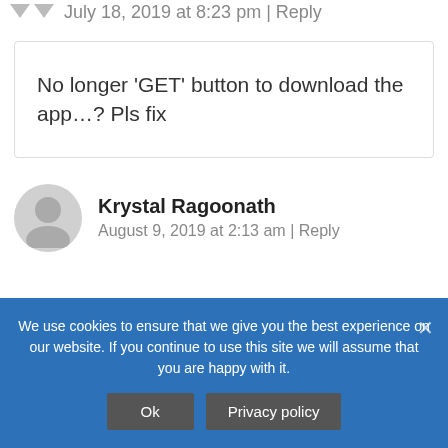July 18, 2019 at 8:23 pm | Reply
No longer ‘GET’ button to download the app…? Pls fix
Krystal Ragoonath
August 9, 2019 at 2:13 am | Reply
We use cookies to ensure that we give you the best experience on our website. If you continue to use this site we will assume that you are happy with it.